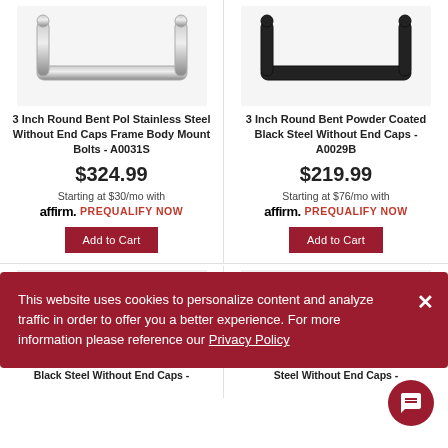[Figure (photo): Product photo: 3 inch round bent polished stainless steel nerf bar, left column top]
[Figure (photo): Product photo: 3 inch round bent powder coated black steel nerf bar, right column top]
3 Inch Round Bent Pol Stainless Steel Without End Caps Frame Body Mount Bolts - A0031S
$324.99
Starting at $30/mo with affirm. PREQUALIFY NOW
Add to Cart
3 Inch Round Bent Powder Coated Black Steel Without End Caps - A0029B
$219.99
Starting at $76/mo with affirm. PREQUALIFY NOW
Add to Cart
This website uses cookies to personalize content and analyze traffic in order to offer you a better experience. For more information please reference our Privacy Policy
[Figure (photo): Product photo: 3 inch round bent powder coated black steel nerf bar, left column bottom]
[Figure (photo): Product photo: 3 inch round bent powder coated black steel nerf bar, right column bottom]
3 Inch Round Bent Powder Coated Black Steel Without End Caps -
3 Inch Round Bent Powder Coated Black Steel Without End Caps -